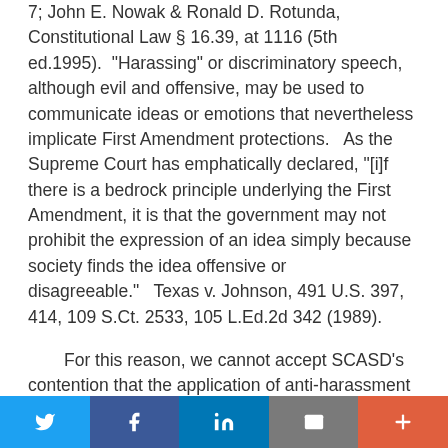7; John E. Nowak & Ronald D. Rotunda, Constitutional Law § 16.39, at 1116 (5th ed.1995). "Harassing" or discriminatory speech, although evil and offensive, may be used to communicate ideas or emotions that nevertheless implicate First Amendment protections. As the Supreme Court has emphatically declared, "[i]f there is a bedrock principle underlying the First Amendment, it is that the government may not prohibit the expression of an idea simply because society finds the idea offensive or disagreeable." Texas v. Johnson, 491 U.S. 397, 414, 109 S.Ct. 2533, 105 L.Ed.2d 342 (1989).
For this reason, we cannot accept SCASD's contention that the application of anti-harassment law to expressive speech can be justified as a regulation of the speech's "secondary effects." R.A.V. did acknowledge that content-discriminatory
[Figure (other): Social sharing footer bar with Twitter, Facebook, LinkedIn, email, and more buttons]